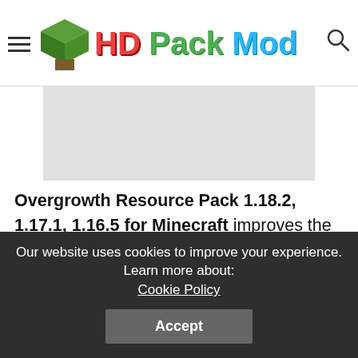HD Pack Mod — navigation header with logo
[Figure (other): Gray advertisement placeholder rectangle]
Overgrowth Resource Pack 1.18.2, 1.17.1, 1.16.5 for Minecraft improves the sport from each side by making an attempt to resume the textures and provides them a brand new clear look, however nonetheless leaving the vanilla model. Additionally, you will have contemporary 3D fashions for blocks and mobs. The Pack may be very epic and distinctive useful resource pack in its means, which considerably modifications the sport world (though it stays the identical serene environment). Changed quite a lot of textures-blocks, mobs1, some issues with
Our website uses cookies to improve your experience. Learn more about: Cookie Policy  Accept